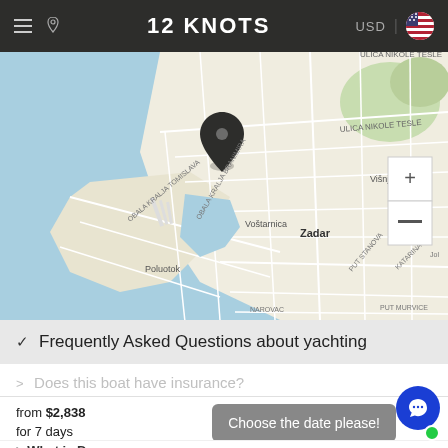12 KNOTS — USD | US flag
[Figure (map): OpenStreetMap view of Zadar, Croatia showing the peninsula (Poluotok), Voštarnica, Višnjik neighborhoods, with a black map pin marker near the marina area. Map has light blue water areas and beige/white land areas with street network. Zoom controls (+/-) visible on right side.]
Frequently Asked Questions about yachting
Does this boat have insurance?
from $2,838
for 7 days
Choose the date please!